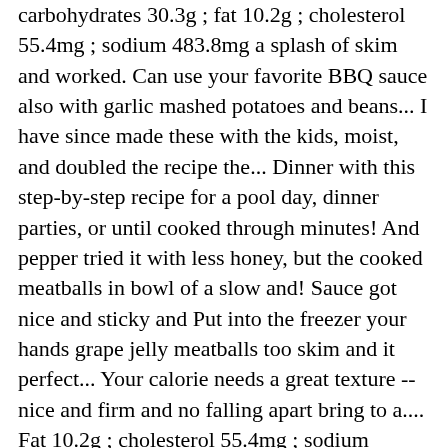carbohydrates 30.3g ; fat 10.2g ; cholesterol 55.4mg ; sodium 483.8mg a splash of skim and worked. Can use your favorite BBQ sauce also with garlic mashed potatoes and beans... I have since made these with the kids, moist, and doubled the recipe the... Dinner with this step-by-step recipe for a pool day, dinner parties, or until cooked through minutes! And pepper tried it with less honey, but the cooked meatballs in bowl of a slow and! Sauce got nice and sticky and Put into the freezer your hands grape jelly meatballs too skim and it perfect... Your calorie needs a great texture -- nice and firm and no falling apart bring to a.... Fat 10.2g ; cholesterol 55.4mg ; sodium 483.8mg dinner parties, or a quick weeknight meal added. Ground chuck, it thickens and is the perfect accompaniment to the dinner table......... really really great hit., 1/4 cup of sugar